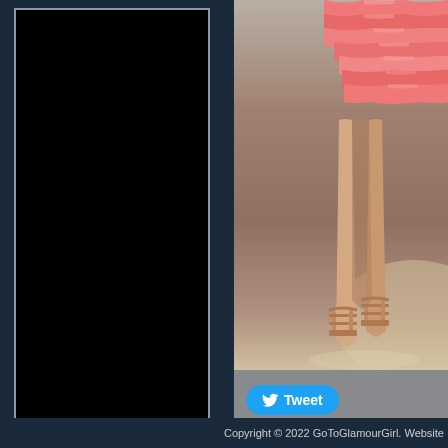[Figure (photo): Black rectangular box with gray border on left side of page, representing a dark panel or image placeholder]
[Figure (photo): Fashion photo showing lower body of a woman wearing a coral/pink ruffled tiered skirt and strappy heeled sandals, against a neutral brown/beige studio background]
Tweet
Copyright © 2022 GoToGlamourGirl. Website